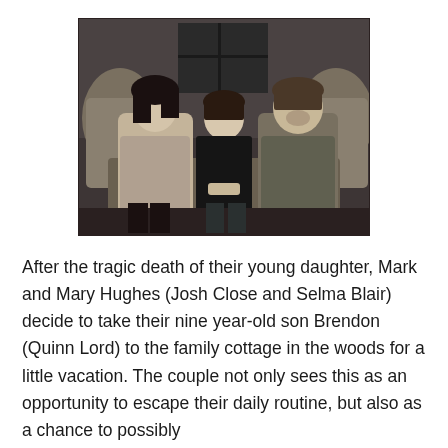[Figure (photo): Three people sitting on an ornate sofa: a young woman with dark hair on the left, a boy in a black shirt in the middle, and a man in a dark shirt on the right. The scene is dimly lit with a dark, moody atmosphere.]
After the tragic death of their young daughter, Mark and Mary Hughes (Josh Close and Selma Blair) decide to take their nine year-old son Brendon (Quinn Lord) to the family cottage in the woods for a little vacation. The couple not only sees this as an opportunity to escape their daily routine, but also as a chance to possibly